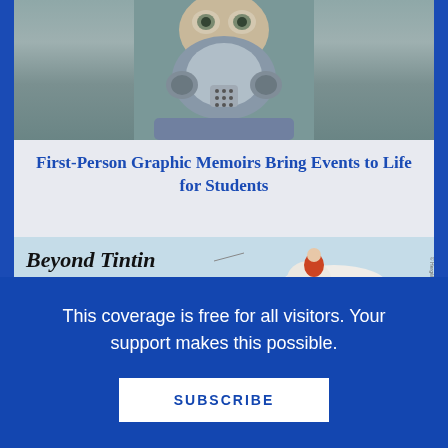[Figure (illustration): Illustration of a person wearing a gas mask/respirator, shown from the shoulders up, with a teal/gray background. The mask covers the lower face with filter canisters on the sides.]
First-Person Graphic Memoirs Bring Events to Life for Students
[Figure (illustration): Promotional image for 'Beyond Tintin' featuring the title text, a cartoon figure riding a horse, a Stellar Panels badge, and several book covers including Akissi, Anya and Buddy, Catherine's War, and Chef Suganthi.]
This coverage is free for all visitors. Your support makes this possible.
SUBSCRIBE